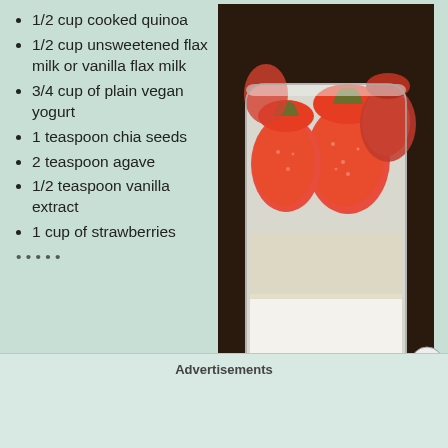1/2 cup cooked quinoa
1/2 cup unsweetened flax milk or vanilla flax milk
3/4 cup of plain vegan yogurt
1 teaspoon chia seeds
2 teaspoon agave
1/2 teaspoon vanilla extract
1 cup of strawberries
[Figure (photo): A glass jar filled with a layered quinoa/yogurt mixture topped with fresh whole strawberries, photographed from above on a dark wooden surface. Watermark reads CELIAC FREE FOODIE.]
Advertisements